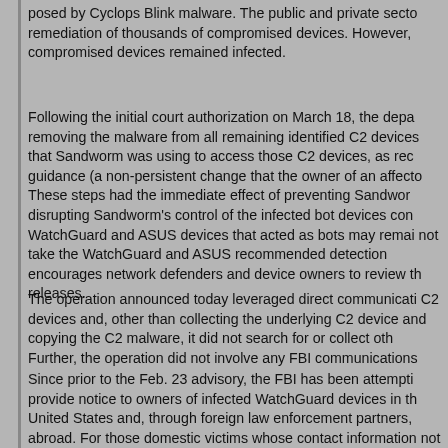posed by Cyclops Blink malware. The public and private secto remediation of thousands of compromised devices. However, compromised devices remained infected.
Following the initial court authorization on March 18, the depa removing the malware from all remaining identified C2 devices that Sandworm was using to access those C2 devices, as rec guidance (a non-persistent change that the owner of an affecto These steps had the immediate effect of preventing Sandwor disrupting Sandworm's control of the infected bot devices con WatchGuard and ASUS devices that acted as bots may remai not take the WatchGuard and ASUS recommended detection encourages network defenders and device owners to review th releases.
The operation announced today leveraged direct communicati C2 devices and, other than collecting the underlying C2 device and copying the C2 malware, it did not search for or collect oth Further, the operation did not involve any FBI communications
Since prior to the Feb. 23 advisory, the FBI has been attempti provide notice to owners of infected WatchGuard devices in th United States and, through foreign law enforcement partners, abroad. For those domestic victims whose contact information not publicly available, the FBI has contacted providers (such a